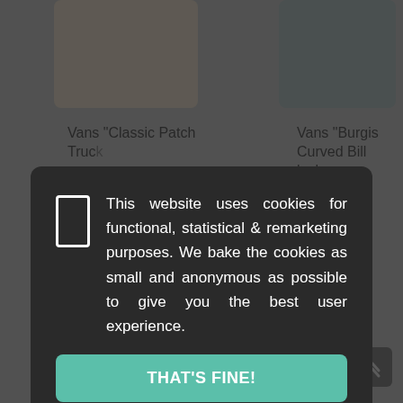[Figure (screenshot): E-commerce website background showing product listings for Vans items, partially dimmed by a cookie consent overlay.]
Vans "Classic Patch Truc...
Vans "Burgis Curved Bill ... lack
This website uses cookies for functional, statistical & remarketing purposes. We bake the cookies as small and anonymous as possible to give you the best user experience.
THAT'S FINE!
I'm not sure...
Vans ... Cap - Hi Del Blue
0.12 kg
25.17  EUR
Chino Slim" Pants - Black
0.60 kg
60.46  EUR